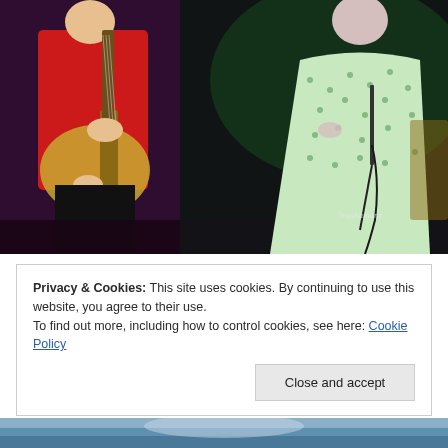[Figure (photo): Concert photo showing a guitarist in a red jacket playing a Les Paul guitar on the left, and a singer in a green polka-dot dress holding a microphone on the right. Dark stage lighting with purple and green hues. Watermark '3rashamane' visible in lower right.]
Privacy & Cookies: This site uses cookies. By continuing to use this website, you agree to their use.
To find out more, including how to control cookies, see here: Cookie Policy
Close and accept
[Figure (photo): Partial view of a second photo visible at the bottom of the page, appearing to show a landscape or outdoor scene with blue/white tones.]